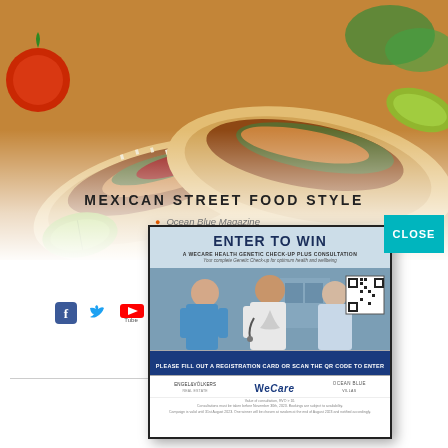[Figure (photo): Close-up photo of Mexican burritos filled with rice, meat, vegetables on a blurred background with tomato and lime]
MEXICAN STREET FOOD STYLE
Ocean Blue Magazine
[Figure (infographic): Popup advertisement modal: 'ENTER TO WIN - A WECARE HEALTH GENETIC CHECK-UP PLUS CONSULTATION - Your Complete Genetic Check-up for optimum health and wellbeing' with photo of doctor and patient, QR code, registration card CTA bar, and logos for Engel & Volkers, WeCare, Ocean Blue]
CLOSE
[Figure (logo): Facebook icon]
[Figure (logo): Twitter icon]
[Figure (logo): YouTube icon]